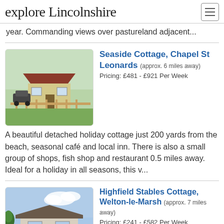explore Lincolnshire
year. Commanding views over pastureland adjacent...
Seaside Cottage, Chapel St Leonards (approx. 6 miles away)
Pricing: £481 - £921 Per Week
A beautiful detached holiday cottage just 200 yards from the beach, seasonal café and local inn. There is also a small group of shops, fish shop and restaurant 0.5 miles away. Ideal for a holiday in all seasons, this v...
Highfield Stables Cottage, Welton-le-Marsh (approx. 7 miles away)
Pricing: £241 - £582 Per Week